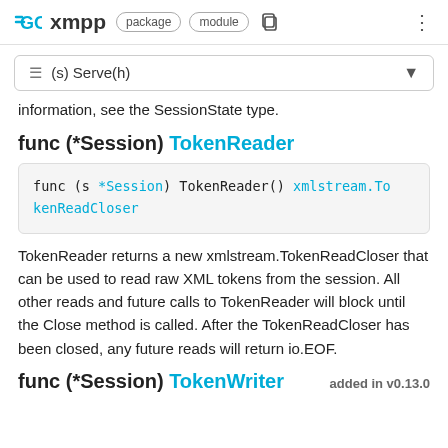GO xmpp package module
≡ (s) Serve(h)
information, see the SessionState type.
func (*Session) TokenReader
func (s *Session) TokenReader() xmlstream.TokenReadCloser
TokenReader returns a new xmlstream.TokenReadCloser that can be used to read raw XML tokens from the session. All other reads and future calls to TokenReader will block until the Close method is called. After the TokenReadCloser has been closed, any future reads will return io.EOF.
func (*Session) TokenWriter  added in v0.13.0